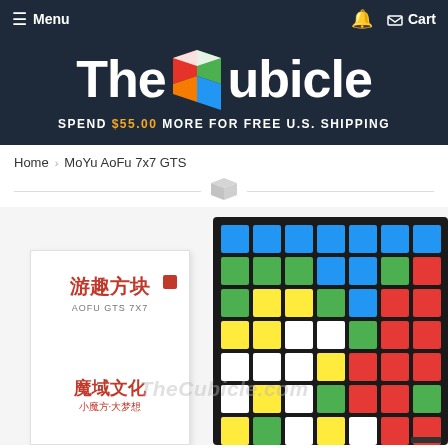Menu  Cart
[Figure (logo): TheCubicle logo with colorful 3D cube icon between 'The' and 'ubicle' text on dark navy background. Below: 'SPEND $55.00 MORE FOR FREE U.S. SHIPPING']
Home > MoYu AoFu 7x7 GTS
[Figure (photo): Product photo of MoYu AoFu 7x7 GTS puzzle cube. Left side shows white product box with Chinese characters and 'AOFU GTS 7X7' text, red Chinese branding. Right side shows the actual 7x7 Rubik's cube with black body and colored stickers (blue top, mixed colors on front including green, yellow, white, orange). TheCubicle.com watermark visible.]